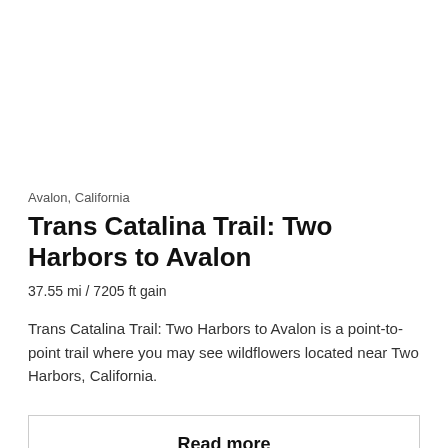Avalon, California
Trans Catalina Trail: Two Harbors to Avalon
37.55 mi / 7205 ft gain
Trans Catalina Trail: Two Harbors to Avalon is a point-to-point trail where you may see wildflowers located near Two Harbors, California.
Read more